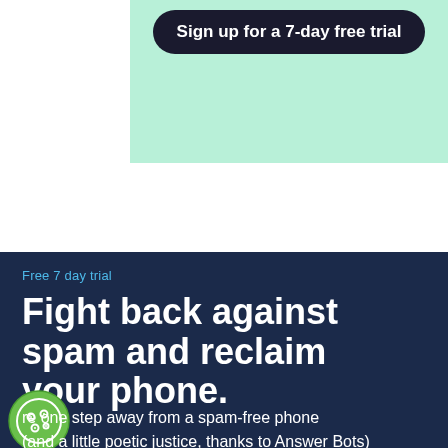[Figure (screenshot): Mint green banner with dark rounded button reading 'Sign up for a 7-day free trial']
Free 7 day trial
Fight back against spam and reclaim your phone.
re one step away from a spam-free phone (and a little poetic justice, thanks to Answer Bots)